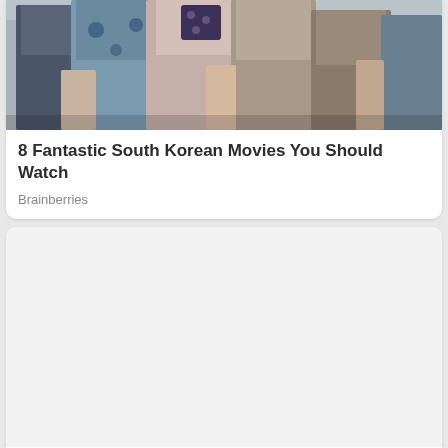[Figure (photo): Top of a photo showing a group of people, partially cropped at the top of the page]
8 Fantastic South Korean Movies You Should Watch
Brainberries
[Figure (photo): Large blank/white image placeholder area for second card]
You Can’t Exactly Play The Victim Card When It’s Revealed
Herbeauty
[Figure (photo): Bottom card image showing partial portrait, mostly cropped]